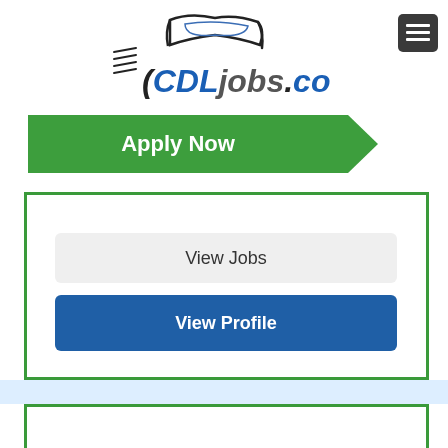[Figure (logo): CDLjobs.com logo with truck silhouette illustration above the text]
[Figure (other): Dark gray hamburger menu button with three white horizontal lines]
[Figure (other): Green arrow-shaped Apply Now button]
[Figure (other): Green bordered box containing View Jobs (gray button) and View Profile (blue button)]
[Figure (other): Light blue horizontal bar separator]
[Figure (other): Green bordered box at bottom of page, partially visible]